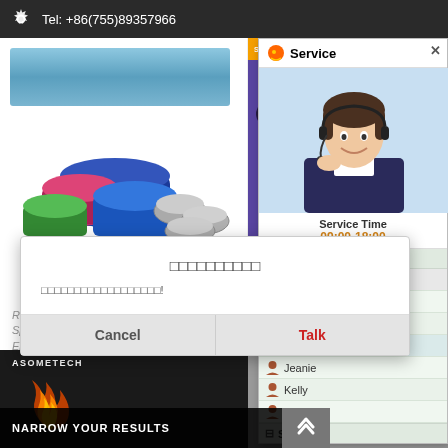Tel: +86(755)89357966
[Figure (screenshot): Blue rectangular cooling towel product image]
[Figure (screenshot): Rolled sports towels in multiple colors with metal bowls]
[Figure (screenshot): Game controller with six-finger linkage cooling fan, purple background, with 'SIX FINGERS LINKAGE, STRONG COOLING' banner]
[Figure (screenshot): Customer service panel showing agent photo, service time 09:00-18:00, and contact list: POP800(7) group with Henry, Erica, Tina, Maggie, Jeanie, Kelly, Lisa and Skype(3) group]
ROMIX D... Sports C... Enduri...
$
[Figure (screenshot): Modal dialog with Japanese/Chinese characters title and body text, Cancel and Talk buttons]
[Figure (screenshot): Asometech logo bar at bottom left with fire graphic]
NARROW YOUR RESULTS